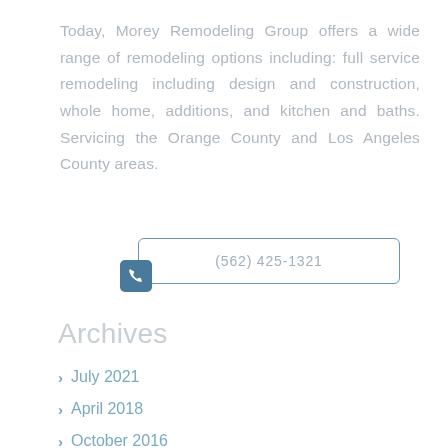Today, Morey Remodeling Group offers a wide range of remodeling options including: full service remodeling including design and construction, whole home, additions, and kitchen and baths. Servicing the Orange County and Los Angeles County areas.
(562) 425-1321
Archives
July 2021
April 2018
October 2016